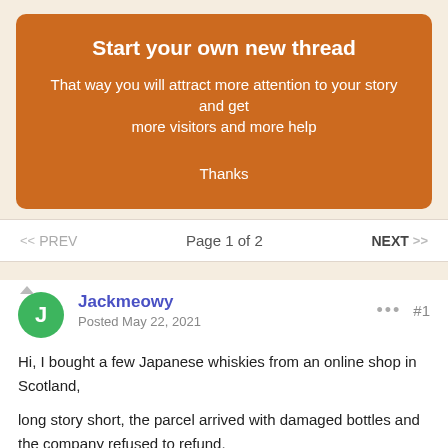Start your own new thread
That way you will attract more attention to your story and get more visitors and more help
Thanks
<< PREV    Page 1 of 2    NEXT >>
Jackmeowy
Posted May 22, 2021
#1
Hi, I bought a few Japanese whiskies from an online shop in Scotland,

long story short, the parcel arrived with damaged bottles and the company refused to refund.